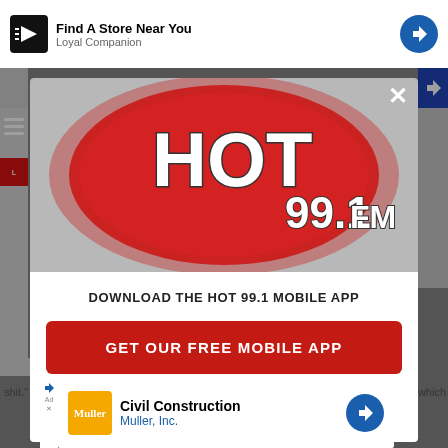[Figure (screenshot): Top advertisement banner for Loyal Companion showing 'Find A Store Near You' with navigation arrow icon]
[Figure (logo): Hot 99.1 FM radio station logo with red oval background and stylized white text]
DOWNLOAD THE HOT 99.1 MOBILE APP
GET OUR FREE MOBILE APP
Also listen on:  amazon alexa
[Figure (screenshot): Bottom advertisement banner for Civil Construction by Muller, Inc. with navigation arrow icon]
which